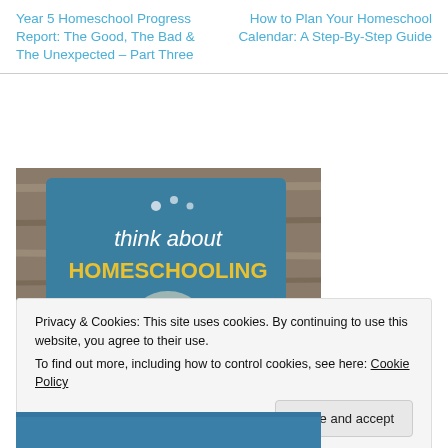Year 5 Homeschool Progress Report: The Good, The Bad & The Unexpected – Part Three
How to Plan Your Homeschool Calendar: A Step-By-Step Guide
[Figure (photo): A teal/blue card on a wooden surface that reads 'think about HOMESCHOOLING' with small white dots and golden yellow text for HOMESCHOOLING.]
Privacy & Cookies: This site uses cookies. By continuing to use this website, you agree to their use.
To find out more, including how to control cookies, see here: Cookie Policy
Close and accept